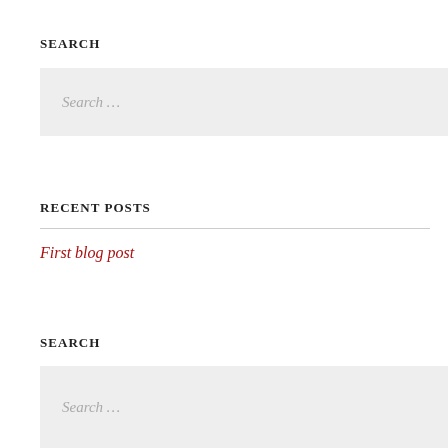SEARCH
[Figure (other): Search input box with placeholder text 'Search ...']
RECENT POSTS
First blog post
SEARCH
[Figure (other): Search input box with placeholder text 'Search ...']